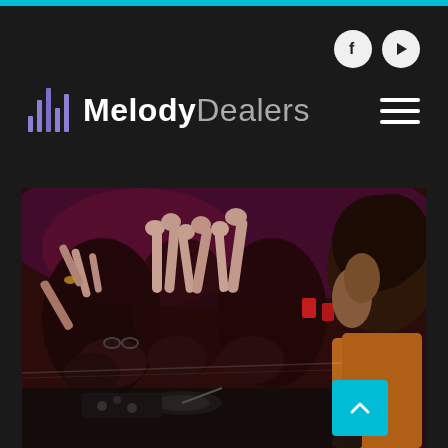[Figure (logo): MelodyDealers website logo with equalizer bar icon and text 'MelodyDealers']
[Figure (photo): DJ at turntables facing a crowd of people with hands raised at a nightclub event]